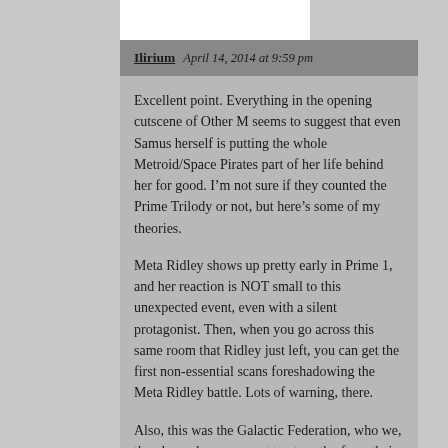Ilirium  April 14, 2014 at 9:59 pm
Excellent point. Everything in the opening cutscene of Other M seems to suggest that even Samus herself is putting the whole Metroid/Space Pirates part of her life behind her for good. I’m not sure if they counted the Prime Trilody or not, but here’s some of my theories.
Meta Ridley shows up pretty early in Prime 1, and her reaction is NOT small to this unexpected event, even with a silent protagonist. Then, when you go across this same room that Ridley just left, you can get the first non-essential scans foreshadowing the Meta Ridley battle. Lots of warning, there.
Also, this was the Galactic Federation, who we, the player, know are not trustworthy from their future actions in Fusion. But